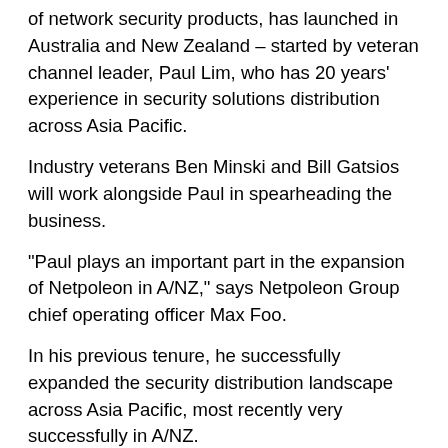of network security products, has launched in Australia and New Zealand – started by veteran channel leader, Paul Lim, who has 20 years' experience in security solutions distribution across Asia Pacific.
Industry veterans Ben Minski and Bill Gatsios will work alongside Paul in spearheading the business.
“Paul plays an important part in the expansion of Netpoleon in A/NZ,” says Netpoleon Group chief operating officer Max Foo.
In his previous tenure, he successfully expanded the security distribution landscape across Asia Pacific, most recently very successfully in A/NZ.
Netpoleon A/NZ will start with a select few cutting edge vendors, including Vectra AI, SilverFort, Radware, Indegy and Forcepoint, with more down the line from Q1 2020.